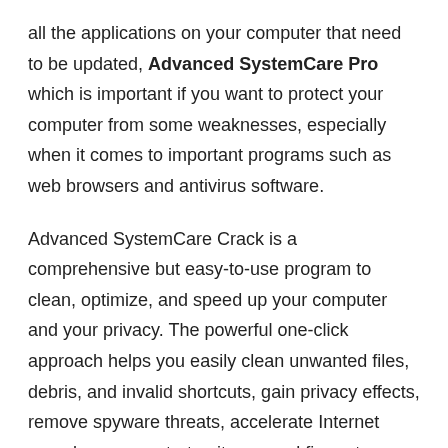all the applications on your computer that need to be updated, Advanced SystemCare Pro which is important if you want to protect your computer from some weaknesses, especially when it comes to important programs such as web browsers and antivirus software.
Advanced SystemCare Crack is a comprehensive but easy-to-use program to clean, optimize, and speed up your computer and your privacy. The powerful one-click approach helps you easily clean unwanted files, debris, and invalid shortcuts, gain privacy effects, remove spyware threats, accelerate Internet speed, manage startup items, and fix system vulnerabilities and security vulnerabilities.